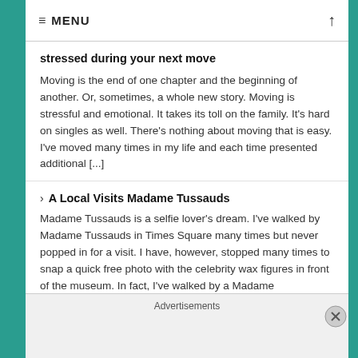≡ MENU
stressed during your next move
Moving is the end of one chapter and the beginning of another. Or, sometimes, a whole new story. Moving is stressful and emotional. It takes its toll on the family. It's hard on singles as well. There's nothing about moving that is easy. I've moved many times in my life and each time presented additional [...]
A Local Visits Madame Tussauds
Madame Tussauds is a selfie lover's dream. I've walked by Madame Tussauds in Times Square many times but never popped in for a visit. I have, however, stopped many times to snap a quick free photo with the celebrity wax figures in front of the museum. In fact, I've walked by a Madame
Advertisements